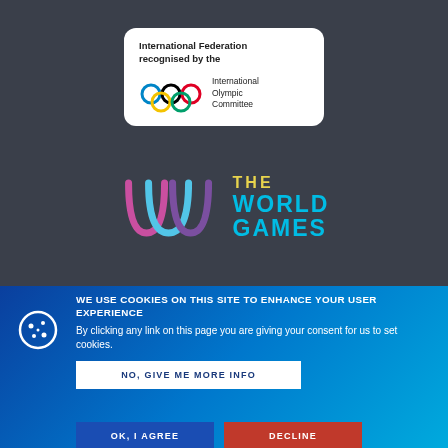[Figure (logo): IOC recognition badge: white rounded rectangle with text 'International Federation recognised by the' and Olympic rings logo with text 'International Olympic Committee']
[Figure (logo): The World Games logo: stylized W made of three arches in pink, blue, purple colors next to text 'THE WORLD GAMES' in yellow and cyan]
WE USE COOKIES ON THIS SITE TO ENHANCE YOUR USER EXPERIENCE
By clicking any link on this page you are giving your consent for us to set cookies.
NO, GIVE ME MORE INFO
OK, I AGREE
DECLINE